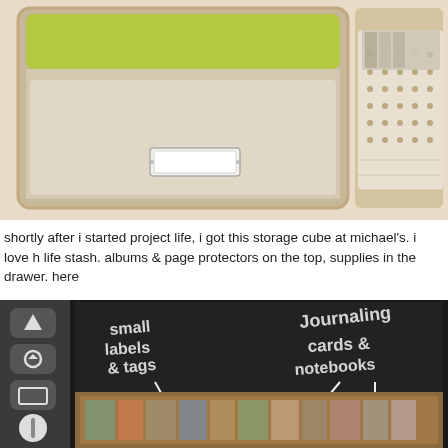[Figure (photo): Two-panel photo: left panel shows a white storage cube drawer with a label holder, green interior visible at top; right panel shows a white plastic basket/organizer containing items in plastic bags.]
shortly after i started project life, i got this storage cube at michael's. i love h life stash. albums & page protectors on the top, supplies in the drawer.  here
[Figure (photo): Photo of an open storage unit drawer with a chalkboard-style label area. Handwritten chalk text reads: 'small labels & tags' on the left and 'Journaling cards & notebooks' on the right, with arrows pointing down to the drawer contents. Left side shows navigation controls (up arrow, home icon, display icon, joystick/scroll).]